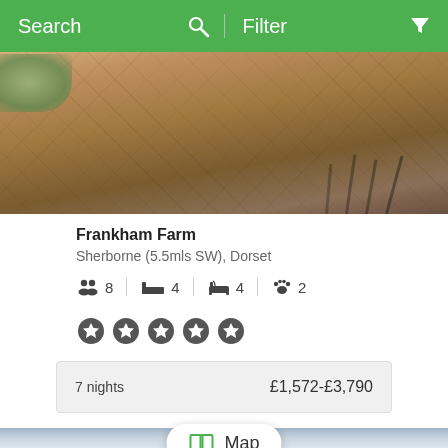Search   Filter
[Figure (photo): Aerial/outdoor view of decorative stamped concrete patio with stone pattern and shadow of chair or furniture visible]
Frankham Farm
Sherborne (5.5mls SW), Dorset
8 guests  4 bedrooms  4 bathrooms  2 pets
[Figure (other): Five gold/dark star rating icons]
7 nights   £1,572-£3,790
[Figure (photo): Overcast cloudy sky photo at bottom of screen with Map button overlay]